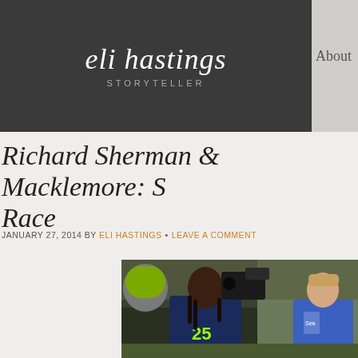eli hastings STORYTELLER
Richard Sherman & Macklemore: Race
JANUARY 27, 2014 BY ELI HASTINGS • LEAVE A COMMENT
[Figure (photo): Photo of Richard Sherman in Seattle Seahawks #25 jersey alongside Macklemore and a camera operator on the sideline]